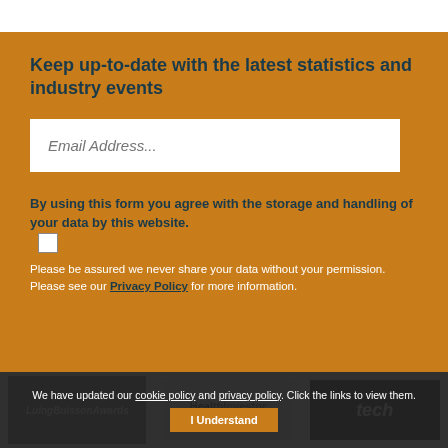Keep up-to-date with the latest statistics and industry events
Email Address...
By using this form you agree with the storage and handling of your data by this website.
Please be assured we never share your data without your permission. Please see our Privacy Policy for more information.
[Figure (logo): LuingBuisson Awards logo]
[Figure (logo): HealthInvestor Power Fifty 2021 logo]
[Figure (logo): tech logo]
We have updated our cookie policy and privacy policy. Click the links to view them. I Understand